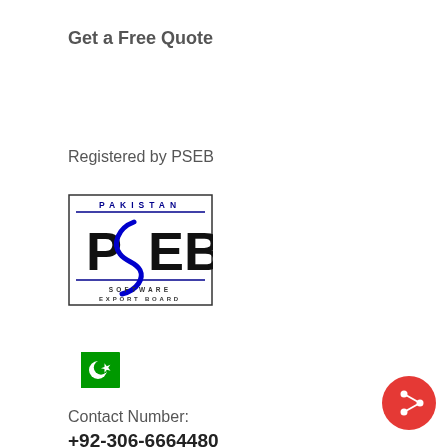Get a Free Quote
Registered by PSEB
[Figure (logo): Pakistan Software Export Board (PSEB) logo with text PAKISTAN at top, PSEB in large bold letters with a blue swoosh through the S, and SOFTWARE EXPORT BOARD at the bottom, all enclosed in a bordered rectangle]
[Figure (illustration): Pakistan national flag - green rectangle with white crescent moon and star on the right side, white vertical stripe on the left]
Contact Number:
+92-306-6664480
[Figure (illustration): Red circular share button with white share icon (connected dots with lines) in the bottom right corner]